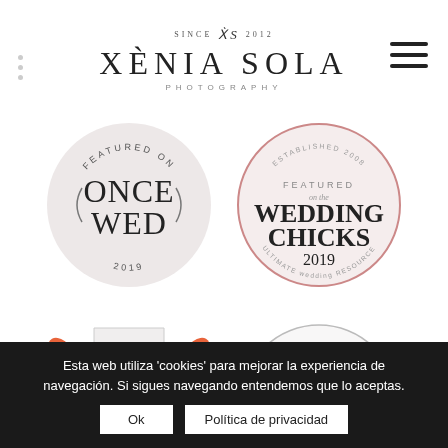[Figure (logo): Xènia Sola Photography logo with 'SINCE XS 2012' above and 'PHOTOGRAPHY' below]
[Figure (logo): OnceWed Featured On 2019 circular badge with light pink background]
[Figure (logo): Wedding Chicks Featured on the Wedding Chicks 2019 Ultimate Wedding Resource circular badge with pink border]
[Figure (logo): Partially visible orange-accented Featured On badge at bottom left]
[Figure (logo): Partially visible circular Featured On badge at bottom right]
Esta web utiliza 'cookies' para mejorar la experiencia de navegación. Si sigues navegando entendemos que lo aceptas.
Ok
Política de privacidad